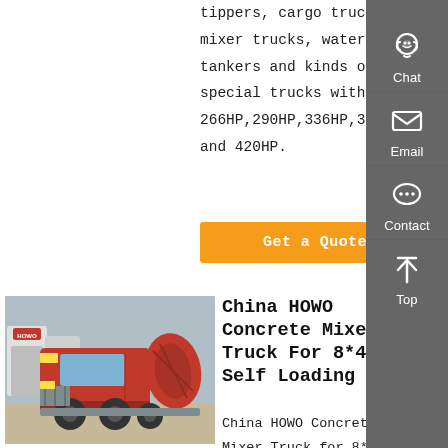tippers, cargo trucks, mixer trucks, water(oil) tankers and kinds of special trucks with 266HP,290HP,336HP,371HP and 420HP.
Get a Quote
[Figure (photo): Red HOWO concrete mixer truck parked in a lot with white trucks in background]
China HOWO Concrete Mixer Truck For 8*4 Self Loading
China HOWO Concrete Mixer Truck for 8*4 Self Loading Pumping, Find